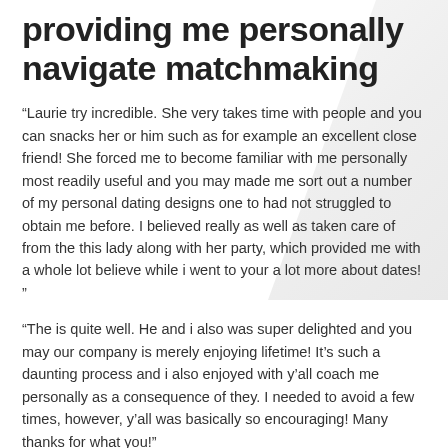providing me personally navigate matchmaking
“Laurie try incredible. She very takes time with people and you can snacks her or him such as for example an excellent close friend! She forced me to become familiar with me personally most readily useful and you may made me sort out a number of my personal dating designs one to had not struggled to obtain me before. I believed really as well as taken care of from the this lady along with her party, which provided me with a whole lot believe while i went to your a lot more about dates! ”
“The is quite well. He and i also was super delighted and you may our company is merely enjoying lifetime! It’s such a daunting process and i also enjoyed with y’all coach me personally as a consequence of they. I needed to avoid a few times, however, y’all was basically so encouraging! Many thanks for what you!”
“We married the fresh love of my entire life, and i also never might have found your without any help of Carolinas Matchmaker! Laurie along with her cluster off benefits helped me with my photographs, profile, and navigating from intimidating & daunting